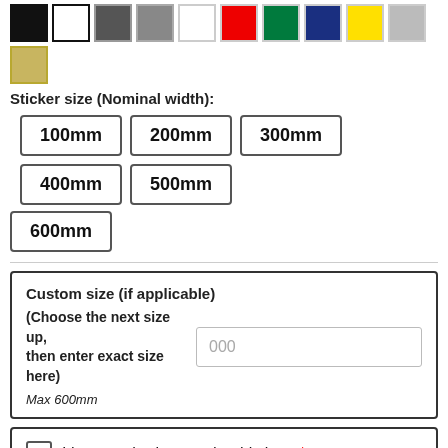[Figure (other): Color swatches row: black (filled), black (outline), dark gray, medium gray, white, red, dark green, dark blue, yellow, light gray]
[Figure (other): Single gold/tan color swatch]
Sticker size (Nominal width):
100mm
200mm
300mm
400mm
500mm
600mm
Custom size (if applicable)
(Choose the next size up, then enter exact size here)
Max 600mm
I have authority to order this logo *
1
Add to cart